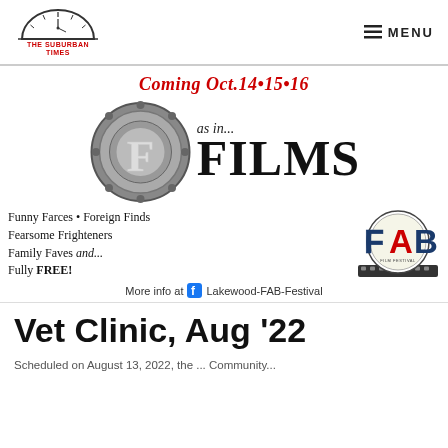The Suburban Times — MENU
[Figure (infographic): FAB Film Festival advertisement: 'Coming Oct. 14·15·16 as in... FILMS — Funny Farces · Foreign Finds, Fearsome Frighteners, Family Faves and... Fully FREE! More info at Lakewood-FAB-Festival'. Contains film canister graphic with letter F and FAB festival logo.]
Vet Clinic, Aug '22
Scheduled on August 13, 2022, the ... Community...